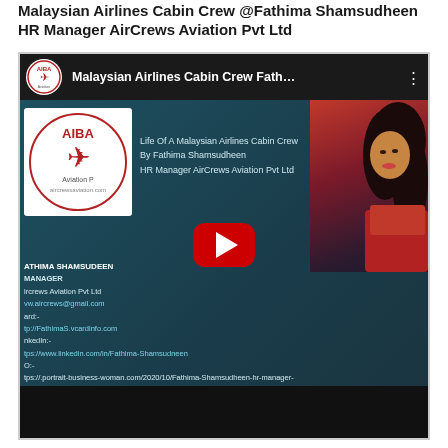Malaysian Airlines Cabin Crew @Fathima Shamsudheen HR Manager AirCrews Aviation Pvt Ltd
[Figure (screenshot): YouTube video thumbnail screenshot showing a video titled 'Malaysian Airlines Cabin Crew Fath...' with teal background, AIBA logo, text overlay about Life Of A Malaysian Airlines Cabin Crew by Fathima Shamsudheen HR Manager AirCrews Aviation Pvt Ltd, a portrait photo of a woman, contact details including aircrews@gmail.com and LinkedIn and vcard URLs, and a large YouTube play button.]